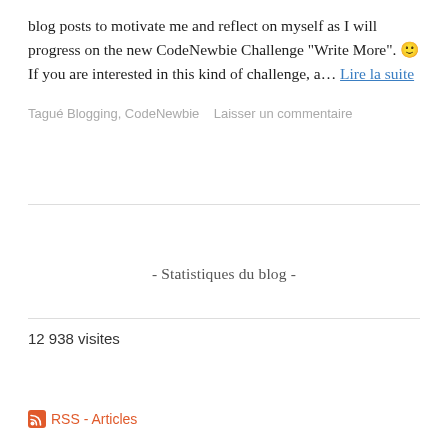blog posts to motivate me and reflect on myself as I will progress on the new CodeNewbie Challenge "Write More". 🙂 If you are interested in this kind of challenge, a… Lire la suite
Tagué Blogging, CodeNewbie   Laisser un commentaire
- Statistiques du blog -
12 938 visites
RSS - Articles